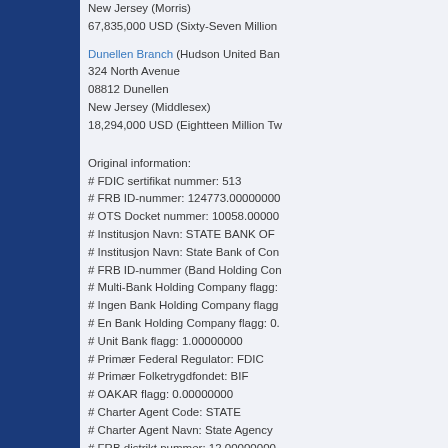New Jersey (Morris)
67,835,000 USD (Sixty-Seven Million
Dunellen Branch (Hudson United Ban
324 North Avenue
08812 Dunellen
New Jersey (Middlesex)
18,294,000 USD (Eightteen Million Tw
Original information:
# FDIC sertifikat nummer: 513
# FRB ID-nummer: 124773.00000000
# OTS Docket nummer: 10058.00000
# Institusjon Navn: STATE BANK OF
# Institusjon Navn: State Bank of Con
# FRB ID-nummer (Band Holding Con
# Multi-Bank Holding Company flagg:
# Ingen Bank Holding Company flagg
# En Bank Holding Company flagg: 0.
# Unit Bank flagg: 1.00000000
# Primær Federal Regulator: FDIC
# Primær Folketrygdfondet: BIF
# OAKAR flagg: 0.00000000
# Charter Agent Code: STATE
# Charter Agent Navn: State Agency
# FRB distrikt nummer: 12.00000000
# Institusjon klasse: NM
# Klasse Antall: 21
# QBP regionnummer: 6.00000000
# QBP Regionnavn: West
# FDIC regionnummer: 14
# FDIC Regionnavn: San Francisco